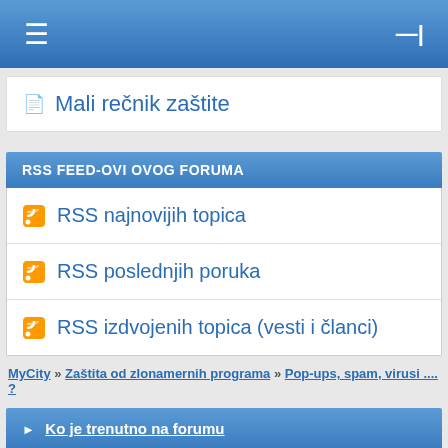≡  —|
Mali rečnik zaštite
RSS FEED-OVI OVOG FORUMA
RSS najnovijih topica
RSS poslednjih poruka
RSS izdvojenih topica (vesti i članci)
MyCity » Zaštita od zlonamernih programa » Pop-ups, spam, virusi .... ?
▶ Ko je trenutno na forumu
Naš sajt koristi kolačiće kako bi poboljšao korisničko iskustvo